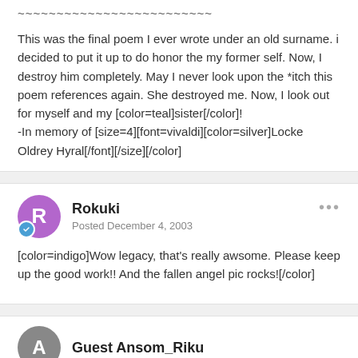~~~~~~~~~~~~~~~~~~~~~~~~~
This was the final poem I ever wrote under an old surname. i decided to put it up to do honor the my former self. Now, I destroy him completely. May I never look upon the *itch this poem references again. She destroyed me. Now, I look out for myself and my [color=teal]sister[/color]!
-In memory of [size=4][font=vivaldi][color=silver]Locke Oldrey Hyral[/font][/size][/color]
Rokuki
Posted December 4, 2003
[color=indigo]Wow legacy, that's really awsome. Please keep up the good work!! And the fallen angel pic rocks![/color]
Guest Ansom_Riku